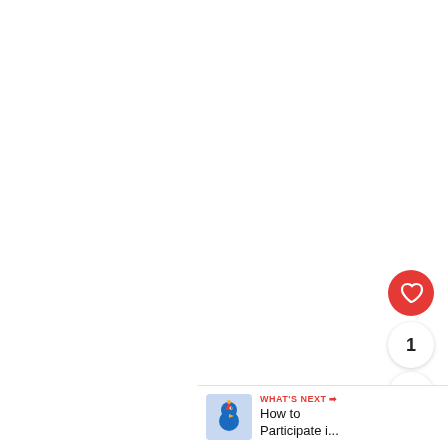[Figure (screenshot): White blank area (main content area, mostly empty)]
[Figure (infographic): Red circular like/heart button with white heart icon, floating action button]
1
[Figure (infographic): White circular share button with share/network icon]
[Figure (infographic): What's Next banner at bottom right, showing a blue bird mascot thumbnail and text 'WHAT'S NEXT → How to Participate i...']